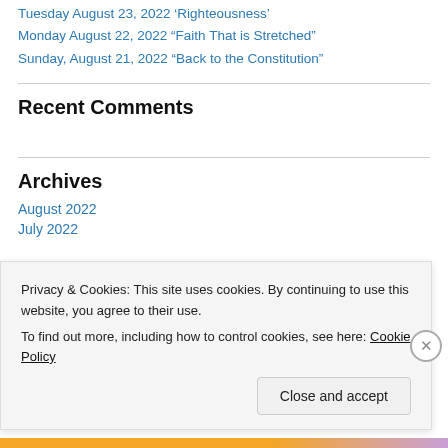Tuesday August 23, 2022 'Righteousness'
Monday August 22, 2022 “Faith That is Stretched”
Sunday, August 21, 2022 “Back to the Constitution”
Recent Comments
Archives
August 2022
July 2022
Privacy & Cookies: This site uses cookies. By continuing to use this website, you agree to their use.
To find out more, including how to control cookies, see here: Cookie Policy
Close and accept